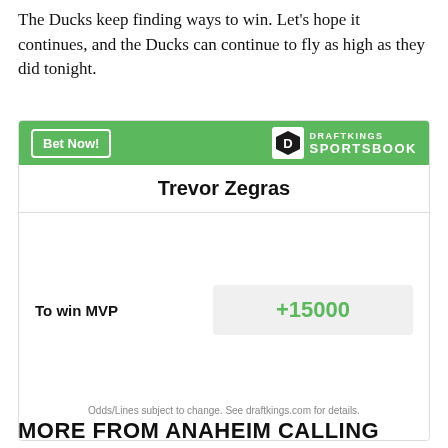The Ducks keep finding ways to win. Let's hope it continues, and the Ducks can continue to fly as high as they did tonight.
[Figure (other): DraftKings Sportsbook betting widget for Trevor Zegras. Shows 'Bet Now!' button on green header with DraftKings Sportsbook logo. Player name 'Trevor Zegras' displayed. Bet line: 'To win MVP' with odds '+15000'. Footer: 'Odds/Lines subject to change. See draftkings.com for details.']
MORE FROM ANAHEIM CALLING